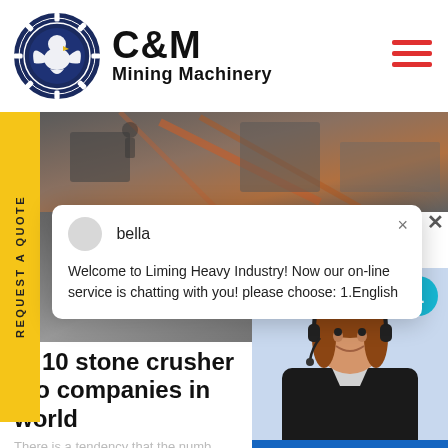[Figure (logo): C&M Mining Machinery logo with eagle gear emblem in dark blue circle, bold text C&M and Mining Machinery]
[Figure (screenshot): Website screenshot showing C&M Mining Machinery page with industrial machinery banner images, chat popup from bella saying Welcome to Liming Heavy Industry, agent photo, Click to Chat and Enquiry buttons, and partially visible headline about top 10 stone crusher manufacturing companies in world]
bella
Welcome to Liming Heavy Industry! Now our on-line service is chatting with you! please choose: 1.English
st 10 stone crusher mo companies in world
There is a tendency that the numb
REQUEST A QUOTE
Click to Chat
Enquiry